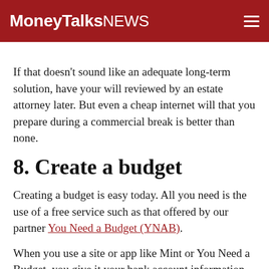MoneyTalksNews
If that doesn’t sound like an adequate long-term solution, have your will reviewed by an estate attorney later. But even a cheap internet will that you prepare during a commercial break is better than none.
8. Create a budget
Creating a budget is easy today. All you need is the use of a free service such as that offered by our partner You Need a Budget (YNAB).
When you use a site or app like Mint or You Need a Budget, you give it your bank account information and create expense categories. Then, your goals and